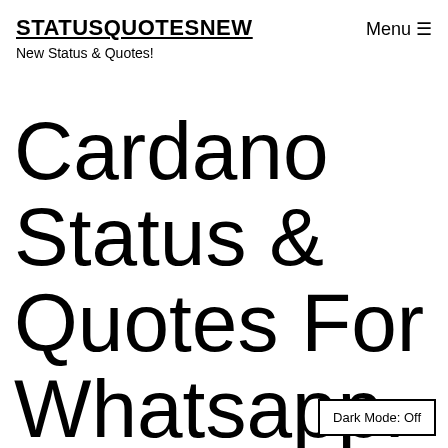STATUSQUOTESNEW
New Status & Quotes!
Menu ☰
Cardano Status & Quotes For Whatsapp.
Dark Mode: Off